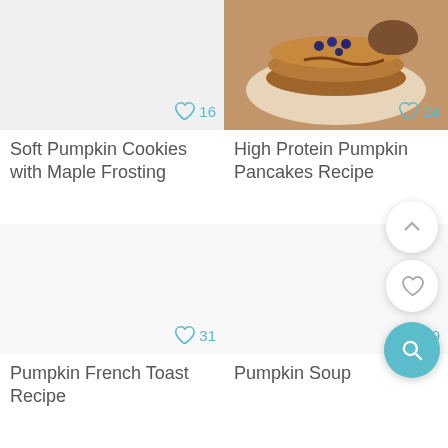[Figure (photo): Recipe card image area (white/grey) for Soft Pumpkin Cookies with Maple Frosting with heart icon and count 16]
Soft Pumpkin Cookies with Maple Frosting
[Figure (photo): Recipe card image showing pancakes with blueberries for High Protein Pumpkin Pancakes Recipe with heart icon and count 24]
High Protein Pumpkin Pancakes Recipe
[Figure (photo): Recipe card image area (white) for Pumpkin French Toast Recipe with heart icon and count 31]
Pumpkin French Toast Recipe
[Figure (photo): Recipe card image area (white) for Pumpkin Soup with heart icon and count 59]
Pumpkin Soup